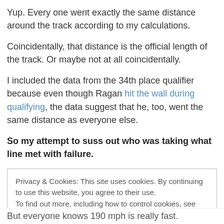Yup. Every one went exactly the same distance around the track according to my calculations.
Coincidentally, that distance is the official length of the track. Or maybe not at all coincidentally.
I included the data from the 34th place qualifier because even though Ragan hit the wall during qualifying, the data suggest that he, too, went the same distance as everyone else.
So my attempt to suss out who was taking what line met with failure.
Privacy & Cookies: This site uses cookies. By continuing to use this website, you agree to their use.
To find out more, including how to control cookies, see here: Privacy Policy
Close and accept
But everyone knows 190 mph is really fast.